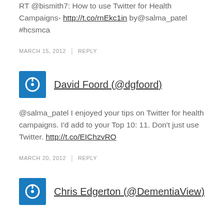RT @bismith7: How to use Twitter for Health Campaigns- http://t.co/rnEkc1in by@salma_patel #hcsmca
MARCH 15, 2012 | REPLY
David Foord (@dgfoord)
@salma_patel I enjoyed your tips on Twitter for health campaigns. I'd add to your Top 10: 11. Don't just use Twitter. http://t.co/EIChzvRO
MARCH 20, 2012 | REPLY
Chris Edgerton (@DementiaView)